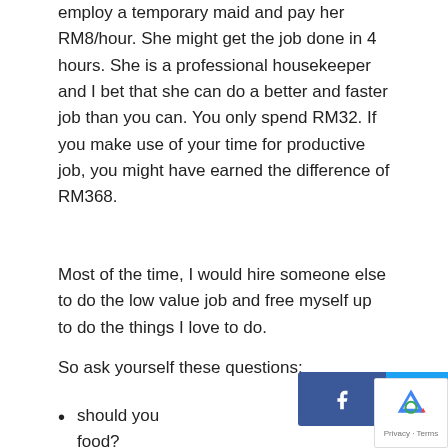employ a temporary maid and pay her RM8/hour. She might get the job done in 4 hours. She is a professional housekeeper and I bet that she can do a better and faster job than you can. You only spend RM32. If you make use of your time for productive job, you might have earned the difference of RM368.
Most of the time, I would hire someone else to do the low value job and free myself up to do the things I love to do.
So ask yourself these questions:
should you [buy / cook] v packed food?
[Figure (other): Social share bar with Facebook, Twitter, LinkedIn, and Pinterest buttons overlaid on the page]
[Figure (other): Google reCAPTCHA badge in bottom-right corner]